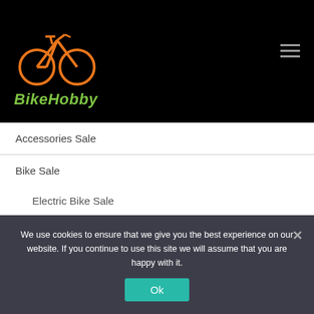[Figure (logo): BikeHobby logo: orange bicycle illustration above green italic text 'BikeHobby' on black background]
Accessories Sale
Bike Sale
Electric Bike Sale
Hybrid Bike Sale
Mountain Bike Sale
Road Bike Sale
Clothing Sale
We use cookies to ensure that we give you the best experience on our website. If you continue to use this site we will assume that you are happy with it.